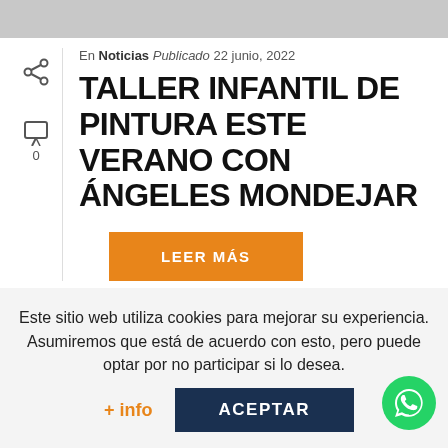En Noticias Publicado 22 junio, 2022
TALLER INFANTIL DE PINTURA ESTE VERANO CON ÁNGELES MONDEJAR
LEER MÁS
Este sitio web utiliza cookies para mejorar su experiencia. Asumiremos que está de acuerdo con esto, pero puede optar por no participar si lo desea.
+ info
ACEPTAR